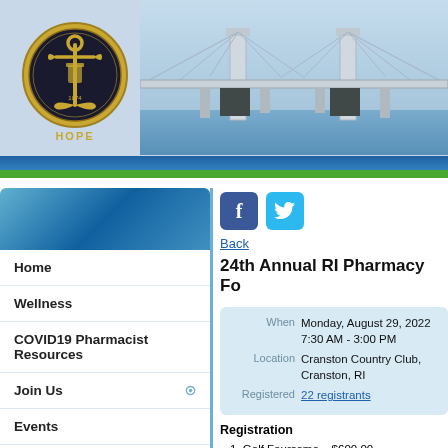[Figure (logo): Rhode Island Pharmacy Association anchor logo with 'HOPE' text below, gold and dark colored emblem]
[Figure (photo): Claiborne Pell Newport Bridge suspension bridge photo with blue sky and water background]
Home
Wellness
COVID19 Pharmacist Resources
Join Us
Events
For Members Only
About Us
Back
24th Annual RI Pharmacy Fo
| When | Monday, August 29, 2022
7:30 AM - 3:00 PM |
| Location | Cranston Country Club, Cranston, RI |
| Registered | 22 registrants |
Registration
1. Golf Foursome – $600.00
Team of four registering together